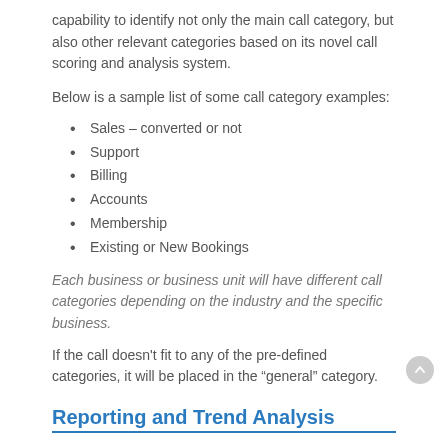capability to identify not only the main call category, but also other relevant categories based on its novel call scoring and analysis system.
Below is a sample list of some call category examples:
Sales – converted or not
Support
Billing
Accounts
Membership
Existing or New Bookings
Each business or business unit will have different call categories depending on the industry and the specific business.
If the call doesn't fit to any of the pre-defined categories, it will be placed in the “general” category.
Reporting and Trend Analysis